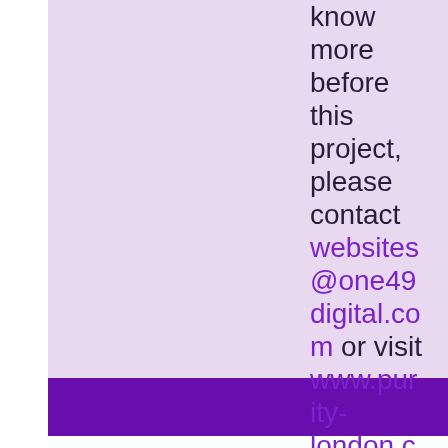know more before this project, please contact websites@one49digital.com or visit www.purity-london.com.